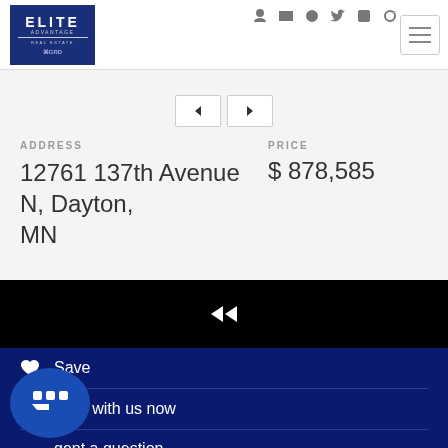[Figure (logo): Elite Advantage Real Estate logo, dark blue square with white text]
[Figure (infographic): Navigation icons: login, email, Facebook, Twitter, YouTube, Instagram]
[Figure (infographic): Hamburger menu button top right]
[Figure (infographic): Carousel navigation buttons with arrow icons]
ADDRESS
PRICE
12761 137th Avenue N, Dayton, MN
$ 878,585
[Figure (infographic): Black bar with rewind/back icon in center]
Save
Chat with us now
Ask an agent a question
[Figure (infographic): Blue chat bubble button with three dots at bottom left]